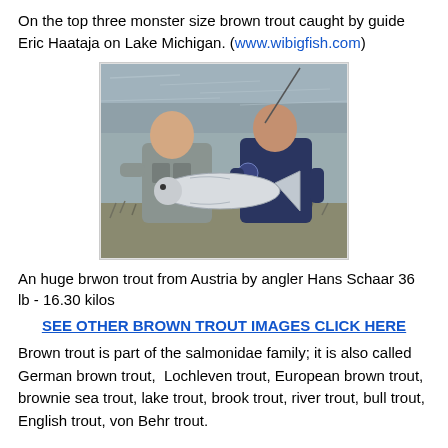On the top three monster size brown trout caught by guide Eric Haataja on Lake Michigan. (www.wibigfish.com)
[Figure (photo): Two men kneeling outdoors near a river, holding a very large brown trout fish. The man on the left wears a grey fishing vest; the man on the right wears a dark navy uniform shirt with a badge patch.]
An huge brwon trout from Austria by angler Hans Schaar 36 lb - 16.30 kilos
SEE OTHER BROWN TROUT IMAGES CLICK HERE
Brown trout is part of the salmonidae family; it is also called German brown trout, Lochleven trout, European brown trout, brownie sea trout, lake trout, brook trout, river trout, bull trout, English trout, von Behr trout.